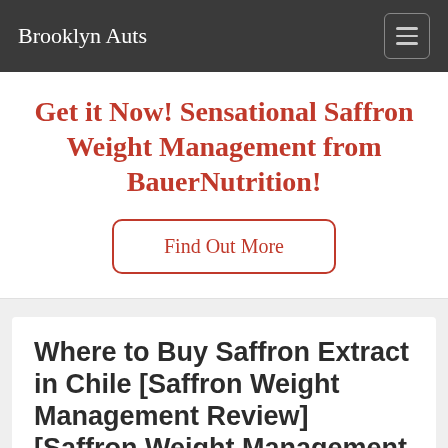Brooklyn Auts
Get it Now! Sensational Saffron Weight Management from BauerNutrition!
Find Out More
Where to Buy Saffron Extract in Chile [Saffron Weight Management Review] [Saffron Weight Management Review]